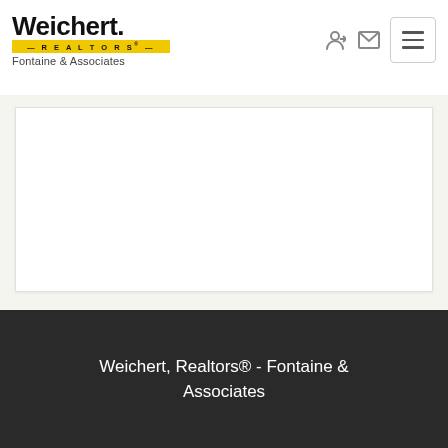[Figure (logo): Weichert Realtors Fontaine & Associates logo with yellow REALTORS bar]
[Figure (screenshot): White content card area with gray background]
Weichert, Realtors® - Fontaine & Associates